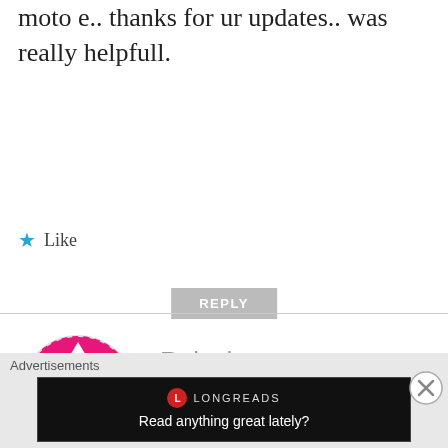moto e.. thanks for ur updates.. was really helpfull.
★ Like
REPLY
[Figure (illustration): Circular avatar with a pink/magenta geometric pattern featuring white diamond and arrow shapes on a circular background for user Rajesh]
Rajesh
JUNE 5, 2014 AT 12:12 PM
Got the mobi, Thanks for the prompt update 🙂 Even FK does not notice its customers.. Good Job guys!!!
Advertisements
[Figure (screenshot): Longreads advertisement banner with black background reading 'Read anything great lately?']